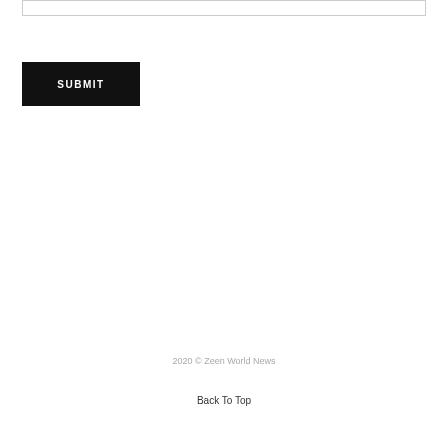[Figure (other): A form input field (text box) at the top of the page, partially visible]
SUBMIT
2020 © Zeen World News
Back To Top